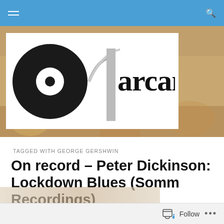arcana (navigation bar with hamburger menu and search icon)
[Figure (logo): Arcana website logo: black vinyl record circle with white center hole, gray arc lines beside it, bold black lowercase text 'arcana'. Set against a decorative art background (Klimt-style golden/brown tones).]
TAGGED WITH GEORGE GERSHWIN
On record – Peter Dickinson: Lockdown Blues (Somm Recordings)
Follow ...